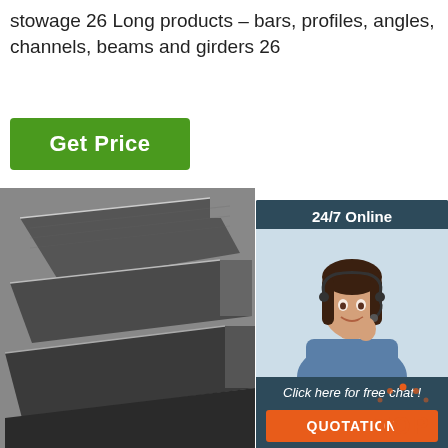stowage 26 Long products – bars, profiles, angles, channels, beams and girders 26
[Figure (other): Green 'Get Price' button]
[Figure (other): Dark steel flat bar/plate products photo]
[Figure (other): 24/7 Online customer service sidebar with woman wearing headset, 'Click here for free chat!' text and orange QUOTATION button]
[Figure (other): Orange TOP badge with dots in arc pattern]